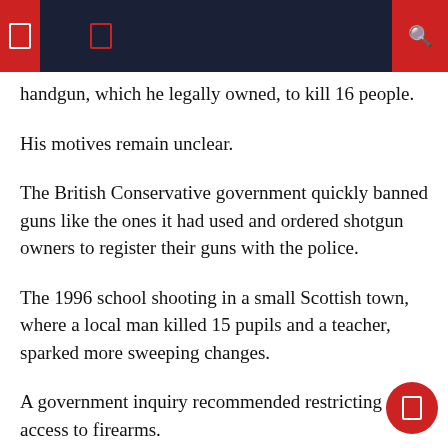handgun, which he legally owned, to kill 16 people.
His motives remain unclear.
The British Conservative government quickly banned guns like the ones it had used and ordered shotgun owners to register their guns with the police.
The 1996 school shooting in a small Scottish town, where a local man killed 15 pupils and a teacher, sparked more sweeping changes.
A government inquiry recommended restricting access to firearms.
The Conservative government went even further by banning all but the smallest firearms, which a subsequent Labor